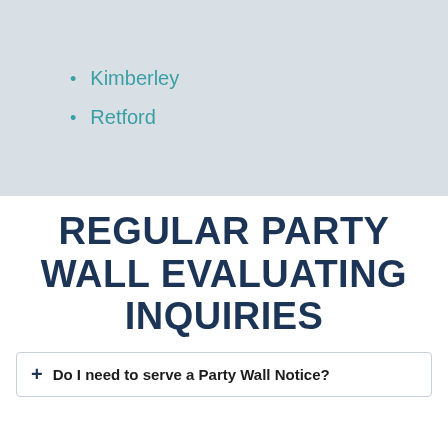Kimberley
Retford
REGULAR PARTY WALL EVALUATING INQUIRIES
+ Do I need to serve a Party Wall Notice?